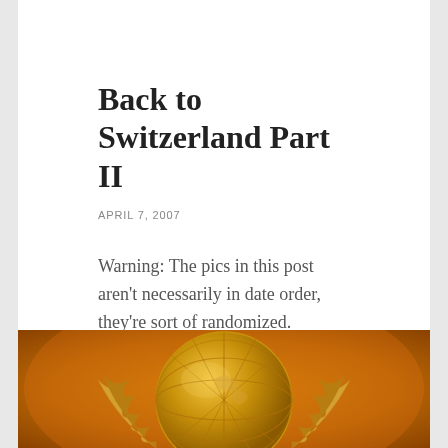Back to Switzerland Part II
APRIL 7, 2007
Warning: The pics in this post aren't necessarily in date order, they're sort of randomized.
The closing ceremonies of the Model UN Conference at the Palais de Nations were a joke, really late starting and about as boring and self-adulating as an awards ceremony could be. But we made our own fun in the seats.
[Figure (photo): Close-up of the golden United Nations emblem/logo showing a globe with laurel branches, rendered in gold tones against an orange-brown background.]